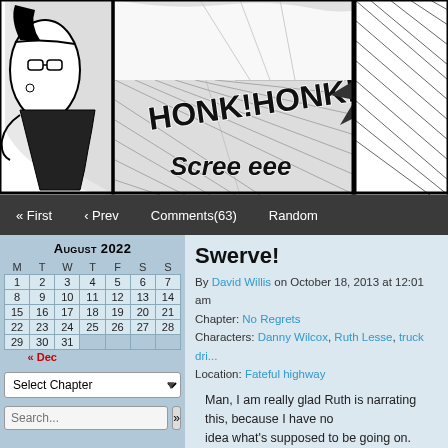[Figure (illustration): Black and white comic panel showing a car scene with sound effects 'HONK!HONK!' and 'SCREE EE...' suggesting a near-collision or swerve on a road.]
« First  ‹ Prev  Comments(63)  Random
Swerve!
By David Willis on October 18, 2013 at 12:01 am
Chapter: No Regrets
Characters: Danny Wilcox, Ruth Lesse, truck driver
Location: Fateful highway
Man, I am really glad Ruth is narrating this, because I have no idea what's supposed to be going on.
Tweet
Like  Sign Up to see what your friends like.
| M | T | W | T | F | S | S |
| --- | --- | --- | --- | --- | --- | --- |
| 1 | 2 | 3 | 4 | 5 | 6 | 7 |
| 8 | 9 | 10 | 11 | 12 | 13 | 14 |
| 15 | 16 | 17 | 18 | 19 | 20 | 21 |
| 22 | 23 | 24 | 25 | 26 | 27 | 28 |
| 29 | 30 | 31 |  |  |  |  |
« Dec
Select Chapter
Search...